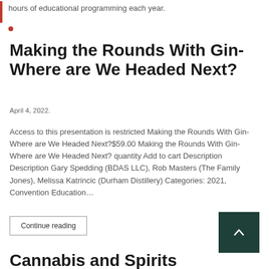hours of educational programming each year.
Making the Rounds With Gin- Where are We Headed Next?
April 4, 2022.
Access to this presentation is restricted Making the Rounds With Gin- Where are We Headed Next?$59.00 Making the Rounds With Gin- Where are We Headed Next? quantity Add to cart Description Description Gary Spedding (BDAS LLC), Rob Masters (The Family Jones), Melissa Katrincic (Durham Distillery) Categories: 2021, Convention Education...
Continue reading
Cannabis and Spirits